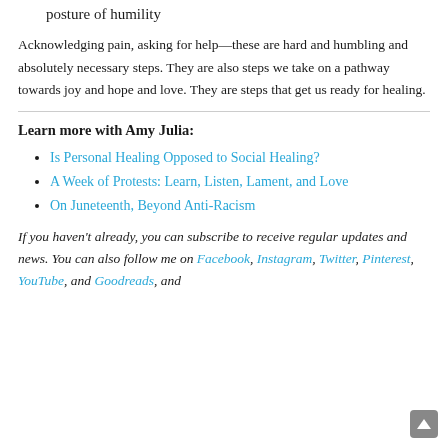posture of humility
Acknowledging pain, asking for help—these are hard and humbling and absolutely necessary steps. They are also steps we take on a pathway towards joy and hope and love. They are steps that get us ready for healing.
Learn more with Amy Julia:
Is Personal Healing Opposed to Social Healing?
A Week of Protests: Learn, Listen, Lament, and Love
On Juneteenth, Beyond Anti-Racism
If you haven't already, you can subscribe to receive regular updates and news. You can also follow me on Facebook, Instagram, Twitter, Pinterest, YouTube, and Goodreads, and